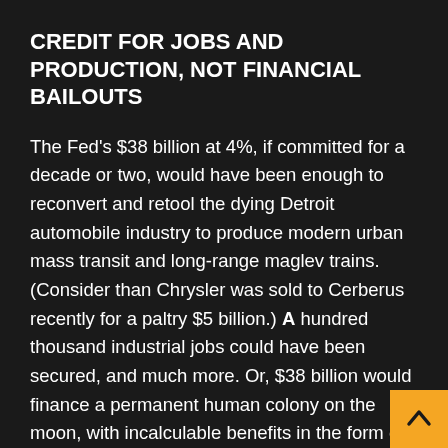CREDIT FOR JOBS AND PRODUCTION, NOT FINANCIAL BAILOUTS
The Fed's $38 billion at 4%, if committed for a decade or two, would have been enough to reconvert and retool the dying Detroit automobile industry to produce modern urban mass transit and long-range maglev trains. (Consider than Chrysler was sold to Cerberus recently for a paltry $5 billion.) A hundred thousand industrial jobs could have been secured, and much more. Or, $38 billion would finance a permanent human colony on the moon, with incalculable benefits in the form of technological spin-offs, and honoring Stephen Hawking's prophetic observation that humanity has no future if we do not go into space. The $325 billion wasted worldwide would have been enough to give all of Africa clean water, electricity,